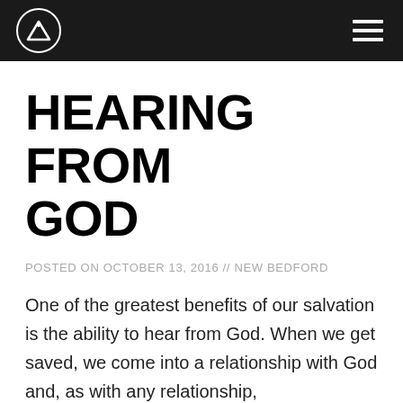HEARING FROM GOD
HEARING FROM GOD
POSTED ON OCTOBER 13, 2016 // NEW BEDFORD
One of the greatest benefits of our salvation is the ability to hear from God. When we get saved, we come into a relationship with God and, as with any relationship, communication is essential. There can be no intimate relationship with our Savior without